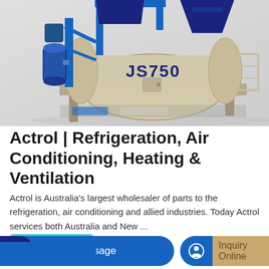[Figure (photo): Industrial concrete mixer machine labeled JS750, with blue steel frame, large cylindrical drum, and hopper on top, displayed against a light grey background.]
Actrol | Refrigeration, Air Conditioning, Heating & Ventilation
Actrol is Australia's largest wholesaler of parts to the refrigeration, air conditioning and allied industries. Today Actrol services both Australia and New ...
Learn More
Send Message
Inquiry Online